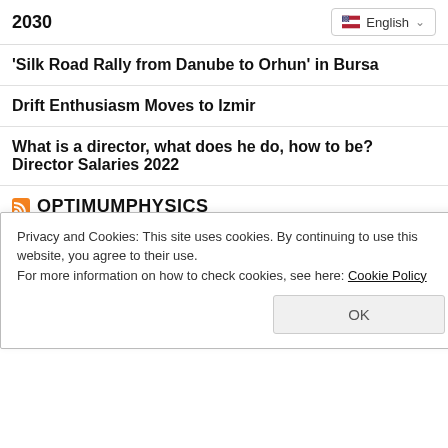2030
'Silk Road Rally from Danube to Orhun' in Bursa
Drift Enthusiasm Moves to Izmir
What is a director, what does he do, how to be? Director Salaries 2022
OPTIMUMPHYSICS
Manual Transmission Makes History
How Do We Know That Time Exists?
Mathematical Model of Animal Growth
Privacy and Cookies: This site uses cookies. By continuing to use this website, you agree to their use.
For more information on how to check cookies, see here: Cookie Policy
OK